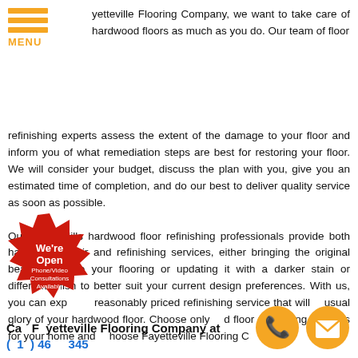[Figure (logo): Orange hamburger menu icon with three horizontal orange bars and the word MENU in orange text below]
yetteville Flooring Company, we want to take care of hardwood floors as much as you do. Our team of floor refinishing experts assess the extent of the damage to your floor and inform you of what remediation steps are best for restoring your floor. We will consider your budget, discuss the plan with you, give you an estimated time of completion, and do our best to deliver quality service as soon as possible.
Our Hope Mills hardwood floor refinishing professionals provide both hardwood repair and refinishing services, either bringing the original beauty back to your flooring or updating it with a darker stain or different finish to better suit your current design preferences. With us, you can expect a reasonably priced refinishing service that will usual glory of your hardwood floor. Choose only d floor refinishing services for your home and hoose Fayetteville Flooring Company.
[Figure (illustration): Red starburst We're Open badge with text: We're Open / Phone/Video Consultations Available]
[Figure (illustration): Orange circular phone icon and orange circular email/envelope icon]
Ca  F  yetteville Flooring Company at  (  0)  46  345